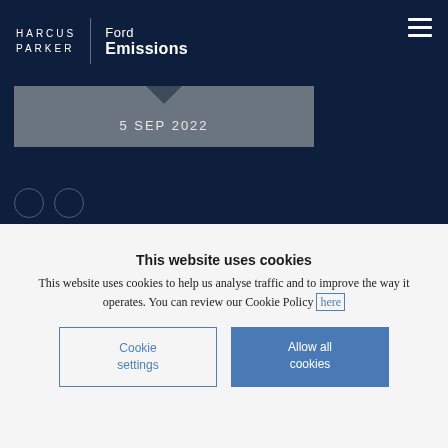HARCUS PARKER | Ford Emissions
5 SEP 2022
This website uses cookies
This website uses cookies to help us analyse traffic and to improve the way it operates. You can review our Cookie Policy here
Cookie settings
Allow all cookies